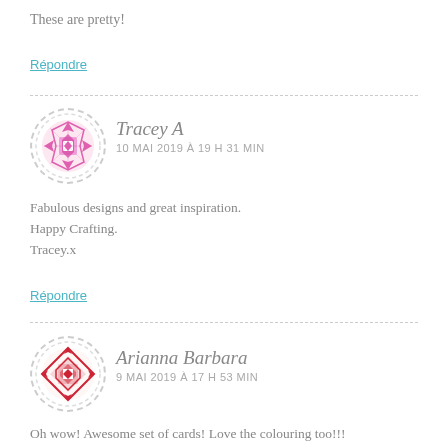These are pretty!
Répondre
[Figure (illustration): Circular avatar with pink geometric mandala/cross-stitch pattern on white background with dashed border]
Tracey A
10 MAI 2019 À 19 H 31 MIN
Fabulous designs and great inspiration.
Happy Crafting.
Tracey.x
Répondre
[Figure (illustration): Circular avatar with red geometric cross-stitch/diamond pattern on white background with dashed border]
Arianna Barbara
9 MAI 2019 À 17 H 53 MIN
Oh wow! Awesome set of cards! Love the colouring too!!!